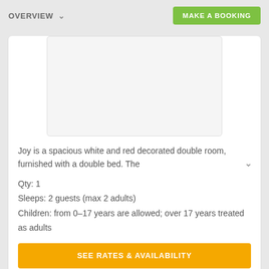OVERVIEW   MAKE A BOOKING
[Figure (photo): Room photo placeholder — white rectangle with light border]
Joy is a spacious white and red decorated double room, furnished with a double bed. The
Qty: 1
Sleeps: 2 guests (max 2 adults)
Children: from 0-17 years are allowed; over 17 years treated as adults
SEE RATES & AVAILABILITY
LOVE